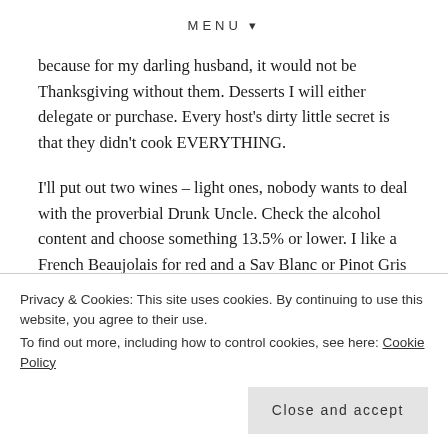MENU ▾
because for my darling husband, it would not be Thanksgiving without them. Desserts I will either delegate or purchase. Every host's dirty little secret is that they didn't cook EVERYTHING.
I'll put out two wines – light ones, nobody wants to deal with the proverbial Drunk Uncle. Check the alcohol content and choose something 13.5% or lower. I like a French Beaujolais for red and a Sav Blanc or Pinot Gris for white. You need something light and acidic to balance out this
Privacy & Cookies: This site uses cookies. By continuing to use this website, you agree to their use.
To find out more, including how to control cookies, see here: Cookie Policy
Close and accept